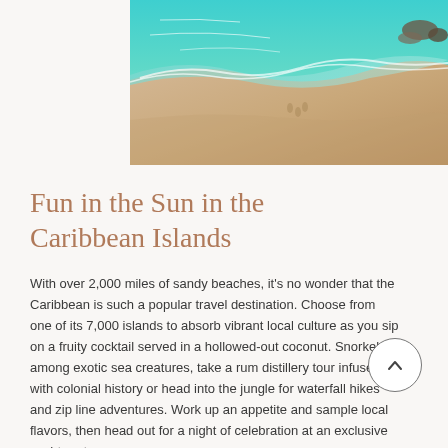[Figure (photo): Aerial view of a sandy Caribbean beach with turquoise water lapping the shore, viewed from above]
Fun in the Sun in the Caribbean Islands
With over 2,000 miles of sandy beaches, it's no wonder that the Caribbean is such a popular travel destination. Choose from one of its 7,000 islands to absorb vibrant local culture as you sip on a fruity cocktail served in a hollowed-out coconut. Snorkel among exotic sea creatures, take a rum distillery tour infused with colonial history or head into the jungle for waterfall hikes and zip line adventures. Work up an appetite and sample local flavors, then head out for a night of celebration at an exclusive yacht party
Events and Festivals